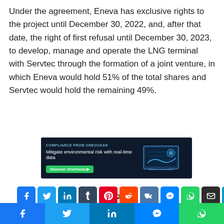Under the agreement, Eneva has exclusive rights to the project until December 30, 2022, and, after that date, the right of first refusal until December 30, 2023, to develop, manage and operate the LNG terminal with Servtec through the formation of a joint venture, in which Eneva would hold 51% of the total shares and Servtec would hold the remaining 49%.
[Figure (other): Advertisement banner for OneOcean: 'COMPLIANCE FROM ONEOCEAN - Mitigate environmental risk with real-time data - Discover OneOcean' button, dark navy background with laptop graphic]
#Brazil
[Figure (other): Social sharing buttons row: Facebook, Twitter, LinkedIn, Tumblr, Pinterest, Reddit, VK, Messenger, WhatsApp, Email, scroll-up]
[Figure (other): Bottom social sharing bar: Facebook, Twitter, LinkedIn, Messenger, WhatsApp]